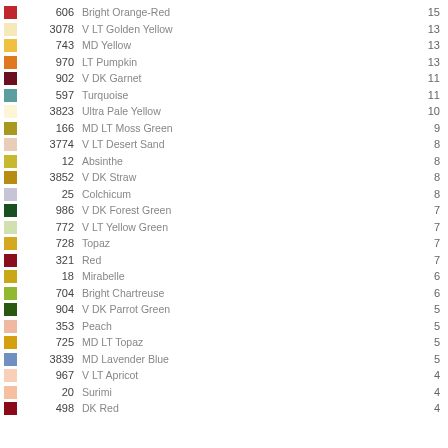| Swatch | Number | Name | Count |
| --- | --- | --- | --- |
|  | 606 | Bright Orange-Red | 15 |
|  | 3078 | V LT Golden Yellow | 13 |
|  | 743 | MD Yellow | 13 |
|  | 970 | LT Pumpkin | 13 |
|  | 902 | V DK Garnet | 11 |
|  | 597 | Turquoise | 11 |
|  | 3823 | Ultra Pale Yellow | 10 |
|  | 166 | MD LT Moss Green | 9 |
|  | 3774 | V LT Desert Sand | 8 |
|  | 12 | Absinthe | 8 |
|  | 3852 | V DK Straw | 8 |
|  | 25 | Colchicum | 8 |
|  | 986 | V DK Forest Green | 7 |
|  | 772 | V LT Yellow Green | 7 |
|  | 728 | Topaz | 7 |
|  | 321 | Red | 7 |
|  | 18 | Mirabelle | 6 |
|  | 704 | Bright Chartreuse | 6 |
|  | 904 | V DK Parrot Green | 5 |
|  | 353 | Peach | 5 |
|  | 725 | MD LT Topaz | 5 |
|  | 3839 | MD Lavender Blue | 5 |
|  | 967 | V LT Apricot | 4 |
|  | 20 | Surimi | 4 |
|  | 498 | DK Red | 4 |